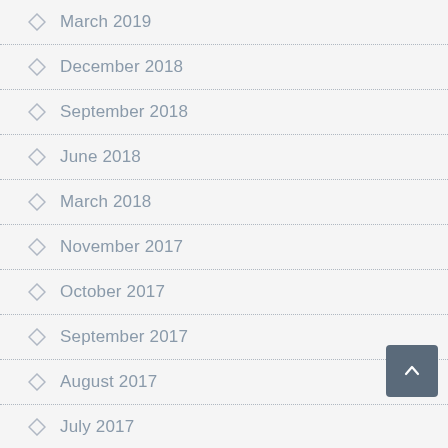March 2019
December 2018
September 2018
June 2018
March 2018
November 2017
October 2017
September 2017
August 2017
July 2017
June 2017 (partial)